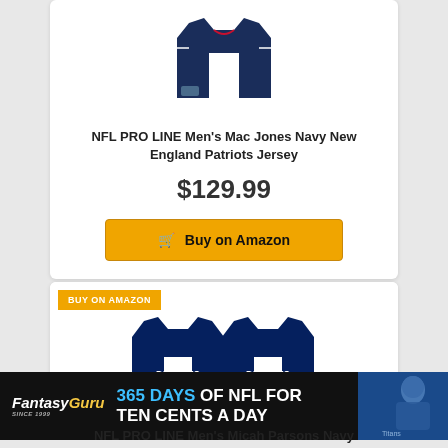[Figure (photo): NFL jersey with number 10 (Patriots Mac Jones) shown front and back in navy blue]
NFL PRO LINE Men's Mac Jones Navy New England Patriots Jersey
$129.99
Buy on Amazon
BUY ON AMAZON
[Figure (photo): NFL jerseys with PARSONS #11 Dallas Cowboys in navy blue shown front and back]
[Figure (photo): Fantasy Guru advertisement banner: 365 DAYS OF NFL FOR TEN CENTS A DAY with player photo]
NFL PRO LINE Men's Micah Parsons Navy